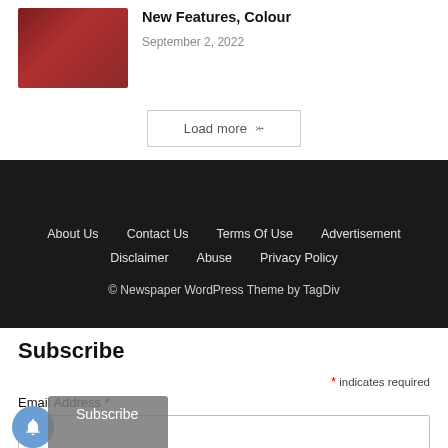[Figure (photo): Red SUV/truck vehicle parked outdoors near trees]
New Features, Colour
September 2, 2022
Load more ∨
About Us   Contact Us   Terms Of Use   Advertisement   Disclaimer   Abuse   Privacy Policy   © Newspaper WordPress Theme by TagDiv
Subscribe
* indicates required
Email Address *
Subscribe